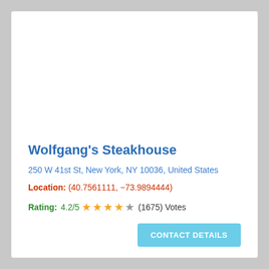Wolfgang's Steakhouse
250 W 41st St, New York, NY 10036, United States
Location: (40.7561111, -73.9894444)
Rating: 4.2/5 ★★★★☆ (1675) Votes